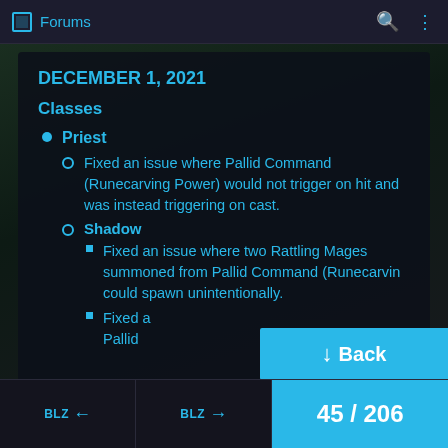Forums
DECEMBER 1, 2021
Classes
Priest
Fixed an issue where Pallid Command (Runecarving Power) would not trigger on hit and was instead triggering on cast.
Shadow
Fixed an issue where two Rattling Mages summoned from Pallid Command (Runecarving could spawn unintentionally.
Fixed a Pallid
45 / 206